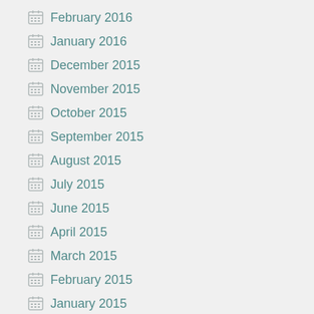February 2016
January 2016
December 2015
November 2015
October 2015
September 2015
August 2015
July 2015
June 2015
April 2015
March 2015
February 2015
January 2015
December 2014